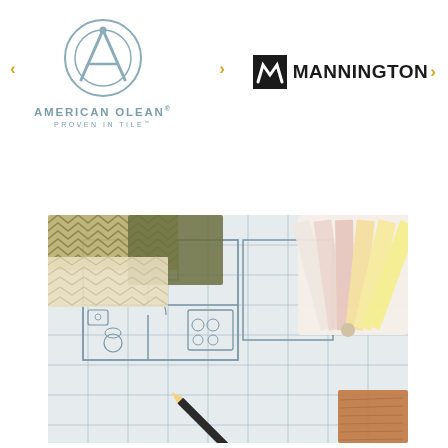[Figure (logo): American Olean logo: circular A symbol above text 'AMERICAN OLEAN® PROVEN IN TILE™' in steel blue, with gold navigation arrows on left and right]
[Figure (logo): Mannington logo: black square with white M symbol followed by bold black 'MANNINGTON'' text, with gold navigation arrow on right]
[Figure (photo): Photo of architectural floor plan drawings with fabric swatches, a pencil, and paint color chips/swatches arranged on top — representing interior design planning]